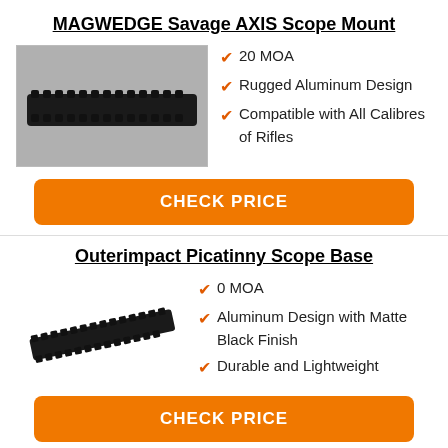MAGWEDGE Savage AXIS Scope Mount
[Figure (photo): Photo of MAGWEDGE Savage AXIS Scope Mount — a black picatinny rail on a gray background]
20 MOA
Rugged Aluminum Design
Compatible with All Calibres of Rifles
CHECK PRICE
Outerimpact Picatinny Scope Base
[Figure (photo): Photo of Outerimpact Picatinny Scope Base — a black rail on white background]
0 MOA
Aluminum Design with Matte Black Finish
Durable and Lightweight
CHECK PRICE